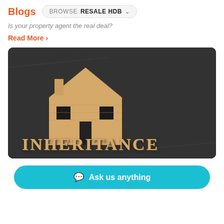Blogs  BROWSE RESALE HDB
Is your property agent the real deal?
Read More ›
[Figure (photo): Wooden house cutout figure with the word INHERITANCE in wooden letters on a dark stone background.]
Ask us anything